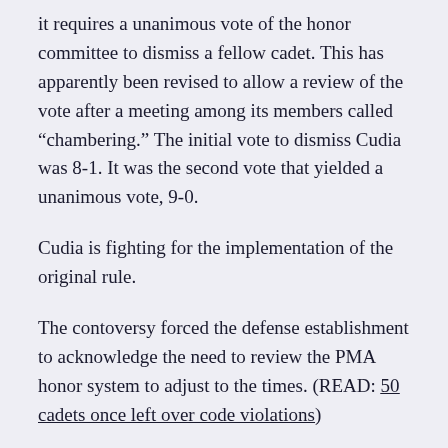it requires a unanimous vote of the honor committee to dismiss a fellow cadet. This has apparently been revised to allow a review of the vote after a meeting among its members called “chambering.” The initial vote to dismiss Cudia was 8-1. It was the second vote that yielded a unanimous vote, 9-0.
Cudia is fighting for the implementation of the original rule.
The contoversy forced the defense establishment to acknowledge the need to review the PMA honor system to adjust to the times. (READ: 50 cadets once left over code violations)
Gazmin told reporters at the height of the